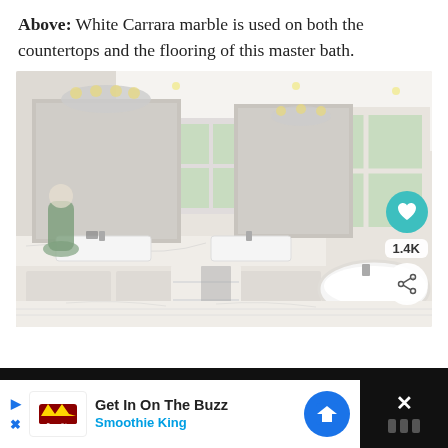Above: White Carrara marble is used on both the countertops and the flooring of this master bath.
[Figure (photo): Bright master bathroom with white Carrara marble countertops and flooring, dual sinks, large mirrors, chandelier lighting, freestanding soaking tub, and windows overlooking greenery. Social sharing overlay with heart icon showing 1.4K and a share button visible on the right side.]
Get In On The Buzz Smoothie King